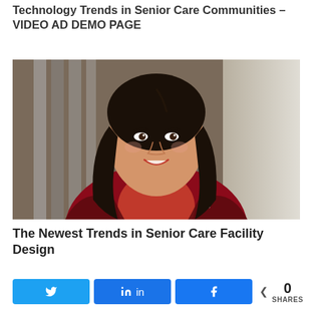Technology Trends in Senior Care Communities – VIDEO AD DEMO PAGE
[Figure (photo): Professional headshot of a woman with dark hair, smiling, wearing a red blouse and a red/black/white tweed blazer, photographed against a blurred indoor background.]
The Newest Trends in Senior Care Facility Design
Social sharing buttons: Twitter, LinkedIn, Facebook. Share count: 0 SHARES